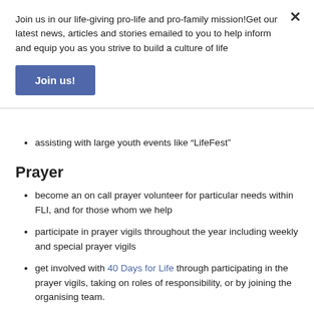Join us in our life-giving pro-life and pro-family mission!Get our latest news, articles and stories emailed to you to help inform and equip you as you strive to build a culture of life
Join us!
assisting with large youth events like “LifeFest”
Prayer
become an on call prayer volunteer for particular needs within FLI, and for those whom we help
participate in prayer vigils throughout the year including weekly and special prayer vigils
get involved with 40 Days for Life through participating in the prayer vigils, taking on roles of responsibility, or by joining the organising team.